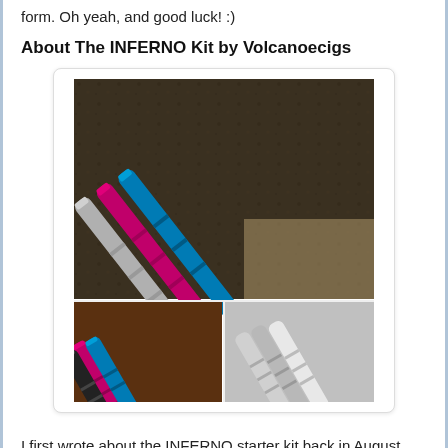form. Oh yeah, and good luck! :)
About The INFERNO Kit by Volcanoecigs
[Figure (photo): Photo collage of INFERNO vape pen starter kits in silver, pink/magenta, and blue colors arranged diagonally, with two smaller close-up photos below.]
I first wrote about the INFERNO starter kit back in August when Volcanoecigs first released a brand new INFERNO Kit.